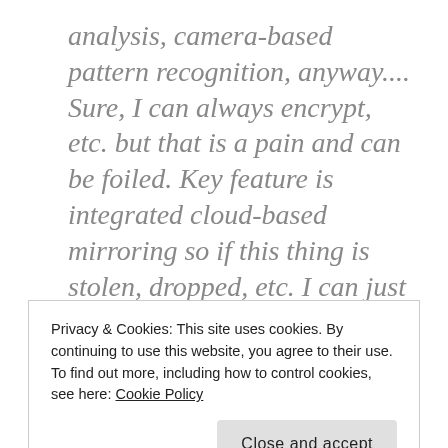analysis, camera-based pattern recognition, anyway.... Sure, I can always encrypt, etc. but that is a pain and can be foiled. Key feature is integrated cloud-based mirroring so if this thing is stolen, dropped, etc. I can just get another machine, verify my ID, and BAM, I have the same machine back. I want a computer that knows when it's been stolen, connects to the web, reports it to the authorities (and to
Privacy & Cookies: This site uses cookies. By continuing to use this website, you agree to their use.
To find out more, including how to control cookies, see here: Cookie Policy
system errors (oh, and yes, I want the ability to